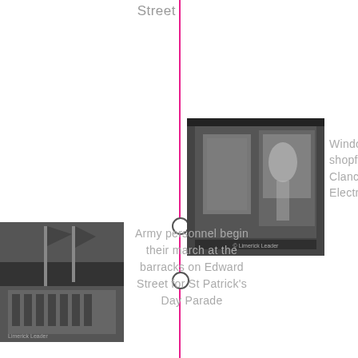Street
[Figure (photo): Black and white photo of a shop window / shopfront of Clancys Electrical]
Window shopfront of Clancys Electrical
[Figure (photo): Black and white photo of army personnel marching with flags at barracks on Edward Street]
Army personnel begin their march at the barracks on Edward Street for St Patrick's Day Parade